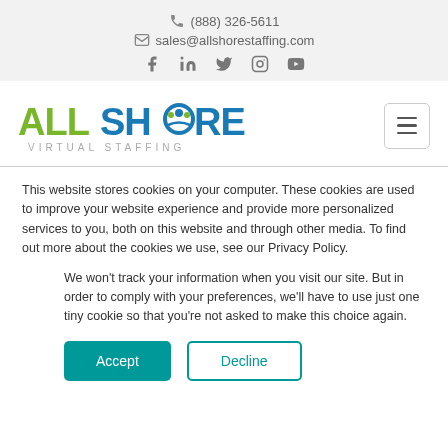(888) 326-5611 | sales@allshorestaffing.com | Social icons: Facebook, LinkedIn, Twitter, Instagram, YouTube
[Figure (logo): AllShore Virtual Staffing logo with green ALL and blue SHORE text, globe icon with people inside the O]
This website stores cookies on your computer. These cookies are used to improve your website experience and provide more personalized services to you, both on this website and through other media. To find out more about the cookies we use, see our Privacy Policy.
We won't track your information when you visit our site. But in order to comply with your preferences, we'll have to use just one tiny cookie so that you're not asked to make this choice again.
Accept | Decline